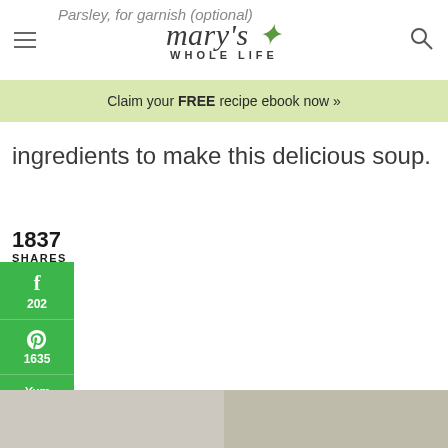mary's WHOLE LIFE
Parsley, for garnish (optional)
Claim your FREE recipe ebook now »
ingredients to make this delicious soup.
1837
SHARES
[Figure (infographic): Social share sidebar showing Facebook (202), Pinterest (1635), and Yum sharing buttons on a green background]
[Figure (photo): Two food/soup photos at the bottom of the page, partially visible]